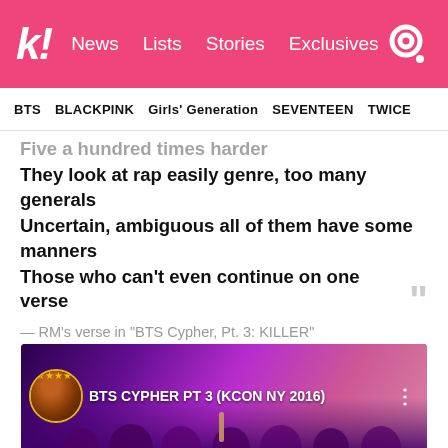k! News  Lists  Stories  Exclusives
BTS  BLACKPINK  Girls' Generation  SEVENTEEN  TWICE
Five a hundred times harder
They look at rap easily genre, too many generals
Uncertain, ambiguous all of them have some manners
Those who can't even continue on one verse
— RM's verse in “BTS Cypher, Pt. 3: KILLER”
[Figure (screenshot): YouTube video thumbnail for BTS CYPHER PT 3 (KCON NY 2016) showing a purple/pink concert scene with crowd]